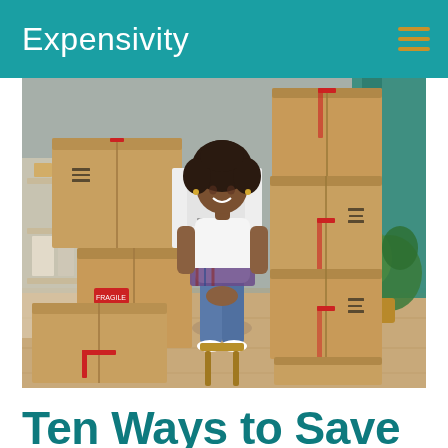Expensivity
[Figure (photo): A smiling young Black woman with curly hair, wearing a white t-shirt and jeans, sitting on a stool surrounded by stacked cardboard moving boxes with red tape in a room with hardwood floors, shelving, and a plant.]
Ten Ways to Save